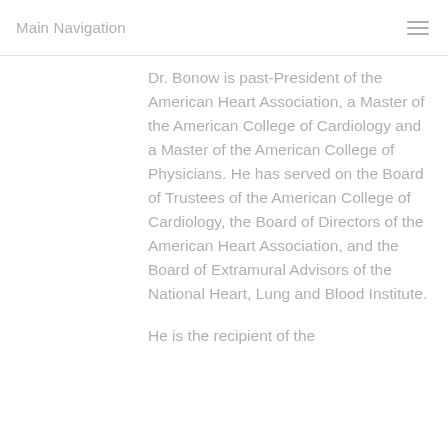Main Navigation
Dr. Bonow is past-President of the American Heart Association, a Master of the American College of Cardiology and a Master of the American College of Physicians. He has served on the Board of Trustees of the American College of Cardiology, the Board of Directors of the American Heart Association, and the Board of Extramural Advisors of the National Heart, Lung and Blood Institute.
He is the recipient of the